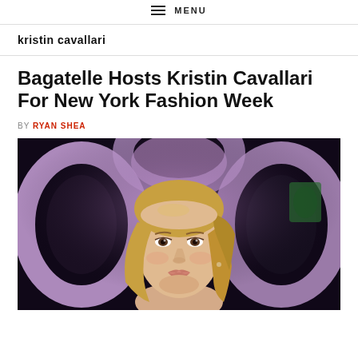MENU
kristin cavallari
Bagatelle Hosts Kristin Cavallari For New York Fashion Week
BY RYAN SHEA
[Figure (photo): Blonde woman (Kristin Cavallari) posing at an event with a purple-lit white sculptural background and dark surroundings.]